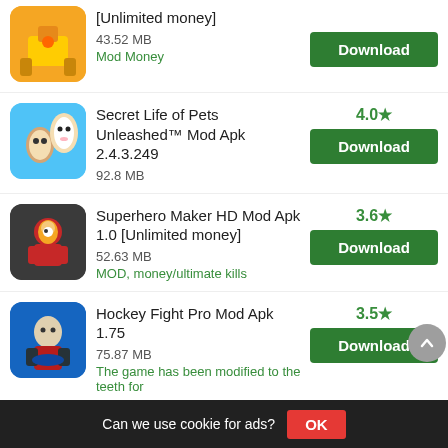[Unlimited money] 43.52 MB Mod Money - Download
Secret Life of Pets Unleashed™ Mod Apk 2.4.3.249 92.8 MB - 4.0★ Download
Superhero Maker HD Mod Apk 1.0 [Unlimited money] 52.63 MB MOD, money/ultimate kills - 3.6★ Download
Hockey Fight Pro Mod Apk 1.75 75.87 MB The game has been modified to the teeth for - 3.5★ Download
Can we use cookie for ads? OK